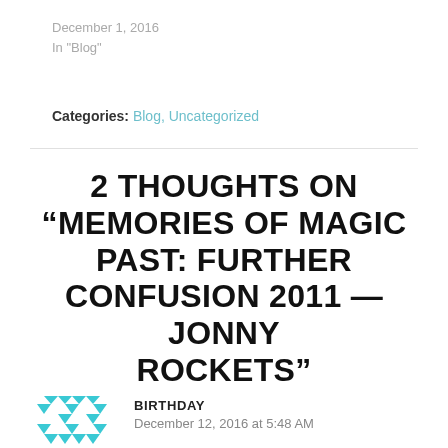December 1, 2016
In "Blog"
Categories: Blog, Uncategorized
2 THOUGHTS ON “MEMORIES OF MAGIC PAST: FURTHER CONFUSION 2011 — JONNY ROCKETS”
BIRTHDAY
December 12, 2016 at 5:48 AM